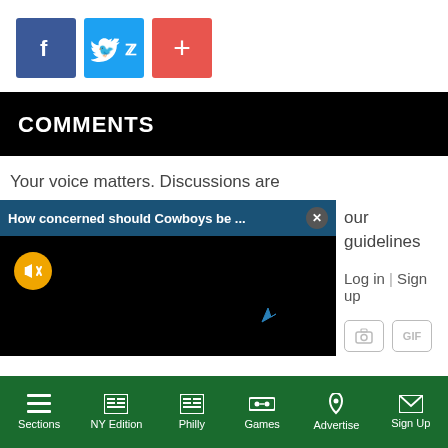[Figure (infographic): Social share buttons: Facebook (blue), Twitter (light blue), Plus/More (red-orange)]
COMMENTS
Your voice matters. Discussions are
[Figure (screenshot): Video overlay with title 'How concerned should Cowboys be ...' and close button X, muted video with orange mute button and cursor arrow visible]
our guidelines
Log in | Sign up
[Figure (infographic): Comment input icon buttons: camera icon and GIF icon]
Sections | NY Edition | Philly | Games | Advertise | Sign Up